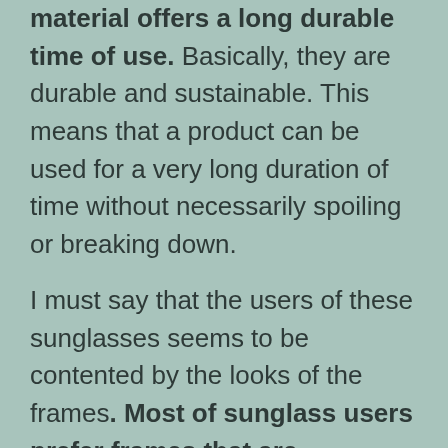material offers a long durable time of use. Basically, they are durable and sustainable. This means that a product can be used for a very long duration of time without necessarily spoiling or breaking down.
I must say that the users of these sunglasses seems to be contented by the looks of the frames. Most of sunglass users prefer frames that are comfortable and fitting.
Good fit sunglasses avoid the chances of falling off the face and getting damaged.